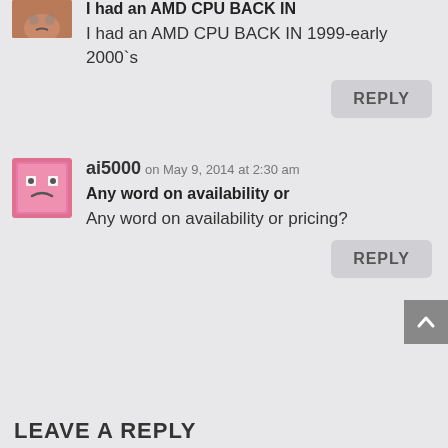[Figure (photo): Partial brown/orange avatar image cropped at top]
I had an AMD CPU BACK IN
I had an AMD CPU BACK IN 1999-early 2000’s
REPLY
[Figure (illustration): Pink sad face avatar icon]
ai5000 on May 9, 2014 at 2:30 am
Any word on availability or
Any word on availability or pricing?
REPLY
LEAVE A REPLY